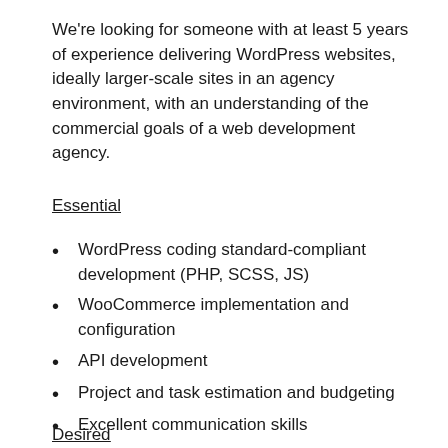We're looking for someone with at least 5 years of experience delivering WordPress websites, ideally larger-scale sites in an agency environment, with an understanding of the commercial goals of a web development agency.
Essential
WordPress coding standard-compliant development (PHP, SCSS, JS)
WooCommerce implementation and configuration
API development
Project and task estimation and budgeting
Excellent communication skills
English language – fluent/professional proficiency
Desired